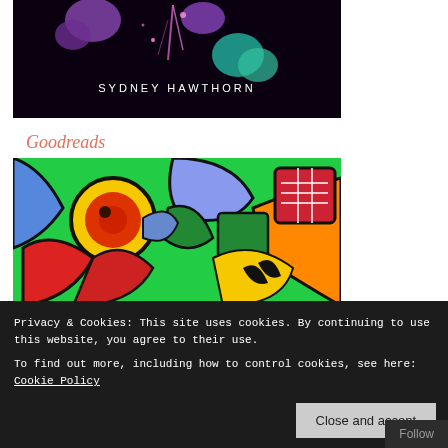[Figure (illustration): Book cover with dark background, purple and teal flower-like shapes, with the author name 'SYDNEY HAWTHORN' in white spaced letters]
Goodreads
[Figure (illustration): Colorful indigenous-style artwork with bold black outlines depicting a stylized animal/bird face with yellow, red, blue, green, and orange sections on a green background]
Privacy & Cookies: This site uses cookies. By continuing to use this website, you agree to their use.
To find out more, including how to control cookies, see here: Cookie Policy
Close and accept
Follow